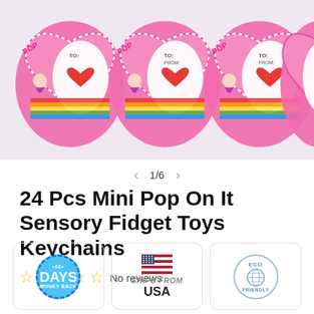[Figure (photo): Product photo showing multiple pink heart-shaped mini pop-it fidget toy keychains arranged in a row, with rainbow and unicorn girl designs, showing 'TO:' and 'FROM:' labels on white heart areas.]
1/6
24 Pcs Mini Pop On It Sensory Fidget Toys Keychains
☆ ☆ ☆ ☆ ☆ No reviews
[Figure (infographic): Three badge icons: (1) Blue circle badge reading '60 DAYS MONEY BACK', (2) USA flag with text 'SHIPS FROM USA', (3) Eco Friendly circle badge with globe icon.]